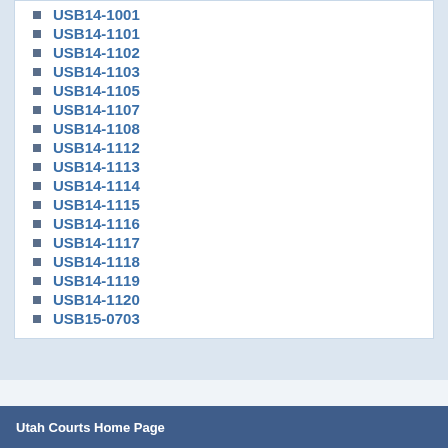USB14-1001
USB14-1101
USB14-1102
USB14-1103
USB14-1105
USB14-1107
USB14-1108
USB14-1112
USB14-1113
USB14-1114
USB14-1115
USB14-1116
USB14-1117
USB14-1118
USB14-1119
USB14-1120
USB15-0703
Utah Courts Home Page